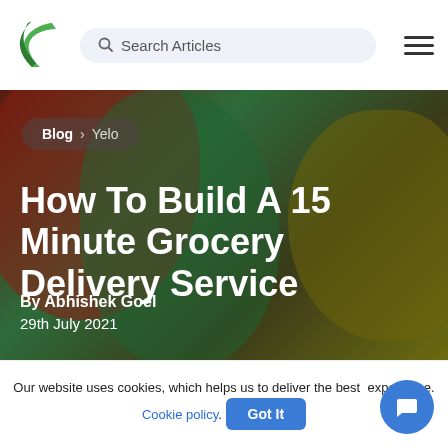Search Articles
Blog > Yelo
How To Build A 15 Minute Grocery Delivery Service
By Abhishek Goel
29th July 2021
Our website uses cookies, which helps us to deliver the best experience. Cookie policy. Got It